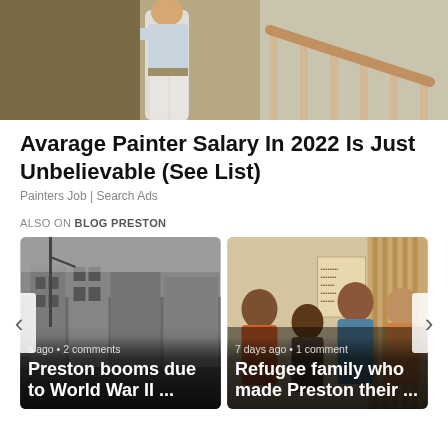[Figure (photo): A painter in white clothes working on a wall/staircase area]
Avarage Painter Salary In 2022 Is Just Unbelievable (See List)
Painters Job | Search Ads
ALSO ON BLOG PRESTON
[Figure (photo): Black and white historical photo of Preston street scene. Text overlay: 's ago • 2 comments' and 'Preston booms due to World War II ...']
[Figure (photo): Color photo of a refugee family group posing together. Text overlay: '7 days ago • 1 comment' and 'Refugee family who made Preston their ...']